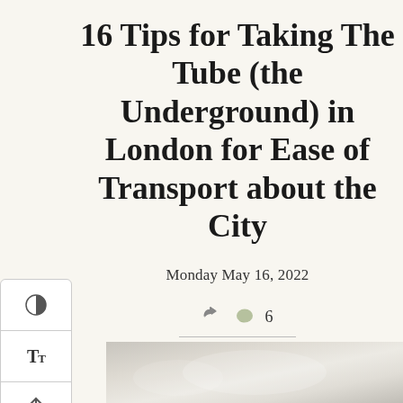16 Tips for Taking The Tube (the Underground) in London for Ease of Transport about the City
Monday May 16, 2022
6
[Figure (photo): Blurred/out-of-focus photo at the bottom of the page, appearing to show an underground station or transport setting in muted greys and whites]